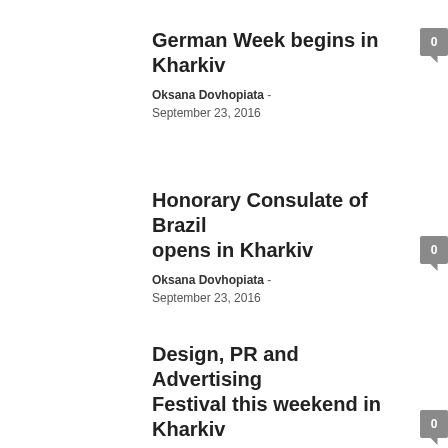German Week begins in Kharkiv
Oksana Dovhopiata - September 23, 2016
Honorary Consulate of Brazil opens in Kharkiv
Oksana Dovhopiata - September 23, 2016
Design, PR and Advertising Festival this weekend in Kharkiv
Oksana Dovhopiata - September 23, 2016